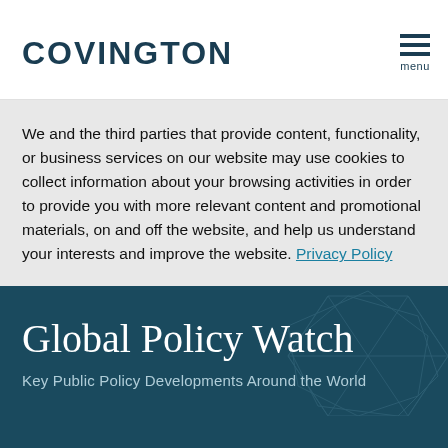COVINGTON
We and the third parties that provide content, functionality, or business services on our website may use cookies to collect information about your browsing activities in order to provide you with more relevant content and promotional materials, on and off the website, and help us understand your interests and improve the website. Privacy Policy
Global Policy Watch
Key Public Policy Developments Around the World